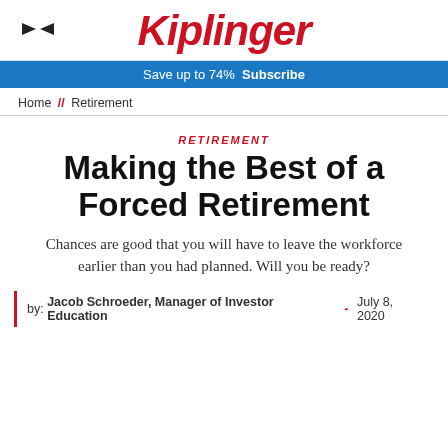Kiplinger
Save up to 74%  Subscribe
Home // Retirement
RETIREMENT
Making the Best of a Forced Retirement
Chances are good that you will have to leave the workforce earlier than you had planned. Will you be ready?
by: Jacob Schroeder, Manager of Investor Education - July 8, 2020